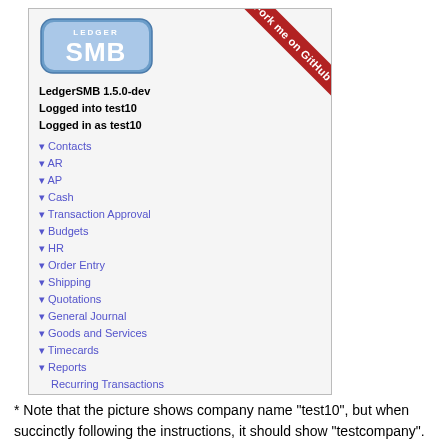[Figure (screenshot): LedgerSMB 1.5.0-dev web application sidebar showing navigation menu with logo and menu items: Contacts, AR, AP, Cash, Transaction Approval, Budgets, HR, Order Entry, Shipping, Quotations, General Journal, Goods and Services, Timecards, Reports, Recurring Transactions, Transaction Templates, Tax Forms, Fixed Assets, System, Preferences, New Window, Logout. Logged into test10 as test10. A red 'Fork me on GitHub' ribbon is in the top right corner.]
* Note that the picture shows company name "test10", but when succinctly following the instructions, it should show "testcompany".